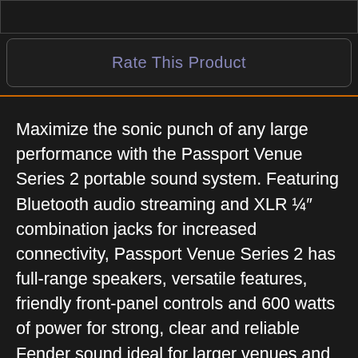Rate This Product
Maximize the sonic punch of any large performance with the Passport Venue Series 2 portable sound system. Featuring Bluetooth audio streaming and XLR ¼″ combination jacks for increased connectivity, Passport Venue Series 2 has full-range speakers, versatile features, friendly front-panel controls and 600 watts of power for strong, clear and reliable Fender sound ideal for larger venues and occasions—including band and DJ gigs; education, sporting and worship events; meetings, seminars and presentations and